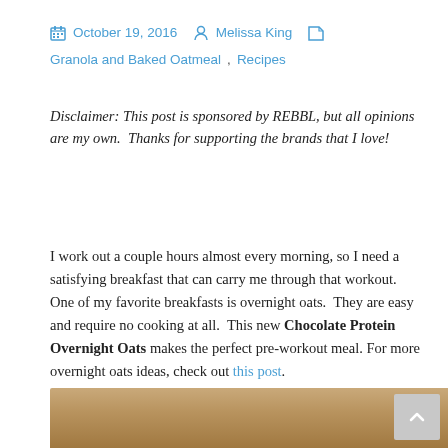October 19, 2016  Melissa King  Granola and Baked Oatmeal, Recipes
Disclaimer: This post is sponsored by REBBL, but all opinions are my own.  Thanks for supporting the brands that I love!
I work out a couple hours almost every morning, so I need a satisfying breakfast that can carry me through that workout.  One of my favorite breakfasts is overnight oats.  They are easy and require no cooking at all.  This new Chocolate Protein Overnight Oats makes the perfect pre-workout meal. For more overnight oats ideas, check out this post.
[Figure (photo): Bottom portion of a photo showing a wooden surface with warm brown tones, partially visible at the bottom of the page.]